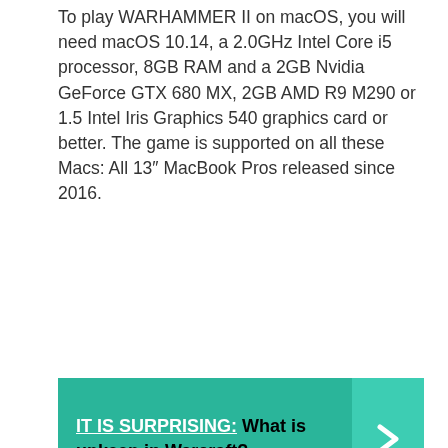To play WARHAMMER II on macOS, you will need macOS 10.14, a 2.0GHz Intel Core i5 processor, 8GB RAM and a 2GB Nvidia GeForce GTX 680 MX, 2GB AMD R9 M290 or 1.5 Intel Iris Graphics 540 graphics card or better. The game is supported on all these Macs: All 13″ MacBook Pros released since 2016.
[Figure (infographic): Teal banner with text 'IT IS SURPRISING: What is upkeep in Warcraft?' and a right-arrow chevron on the right side in a slightly darker teal box.]
Total War